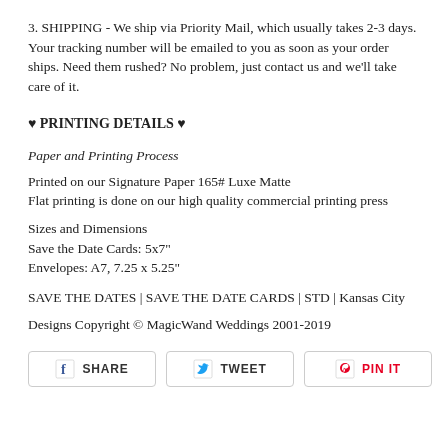3. SHIPPING - We ship via Priority Mail, which usually takes 2-3 days. Your tracking number will be emailed to you as soon as your order ships. Need them rushed? No problem, just contact us and we'll take care of it.
♥ PRINTING DETAILS ♥
Paper and Printing Process
Printed on our Signature Paper 165# Luxe Matte
Flat printing is done on our high quality commercial printing press
Sizes and Dimensions
Save the Date Cards: 5x7"
Envelopes: A7, 7.25 x 5.25"
SAVE THE DATES | SAVE THE DATE CARDS | STD | Kansas City
Designs Copyright © MagicWand Weddings 2001-2019
[Figure (other): Social share buttons: Facebook SHARE, Twitter TWEET, Pinterest PIN IT]